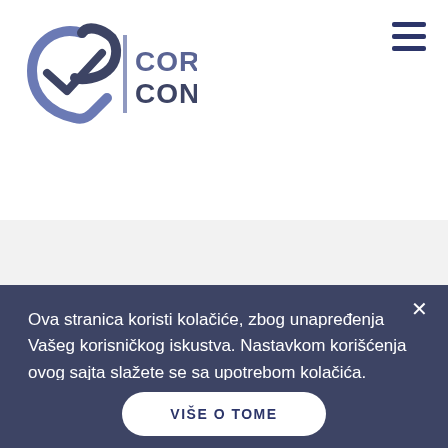[Figure (logo): COR CONSULT logo with checkmark and vertical bar, navy blue colors]
[Figure (illustration): Cloud upload/network icon with cloud, upward arrow, and two connected device boxes below]
Ova stranica koristi kolačiće, zbog unapređenja Vašeg korisničkog iskustva. Nastavkom korišćenja ovog sajta slažete se sa upotrebom kolačića.
VIŠE O TOME